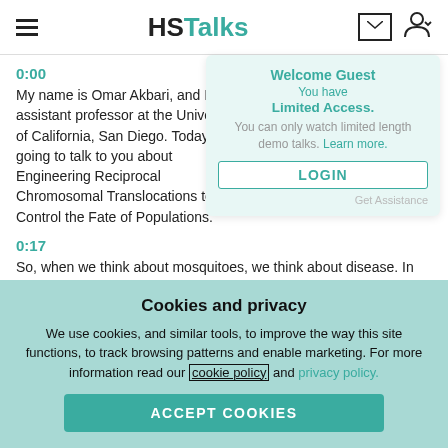HSTalks
0:00
My name is Omar Akbari, and I'm an assistant professor at the University of California, San Diego. Today, I'm going to talk to you about Engineering Reciprocal Chromosomal Translocations to Control the Fate of Populations.
Welcome Guest
You have Limited Access. You can only watch limited length demo talks. Learn more.
LOGIN
Get Assistance
0:17
So, when we think about mosquitoes, we think about disease. In fact, when you look at the number of people killed by animals, mosquitoes top the chart. They are considered the world's deadliest animal and there are roughly a million people dying every single
Cookies and privacy
We use cookies, and similar tools, to improve the way this site functions, to track browsing patterns and enable marketing. For more information read our cookie policy and privacy policy.
ACCEPT COOKIES